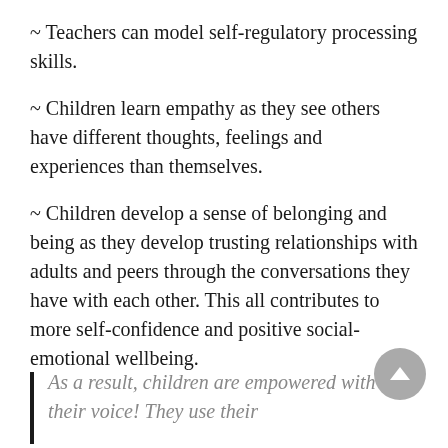~ Teachers can model self-regulatory processing skills.
~ Children learn empathy as they see others have different thoughts, feelings and experiences than themselves.
~ Children develop a sense of belonging and being as they develop trusting relationships with adults and peers through the conversations they have with each other. This all contributes to more self-confidence and positive social-emotional wellbeing.
As a result, children are empowered with their voice! They use their